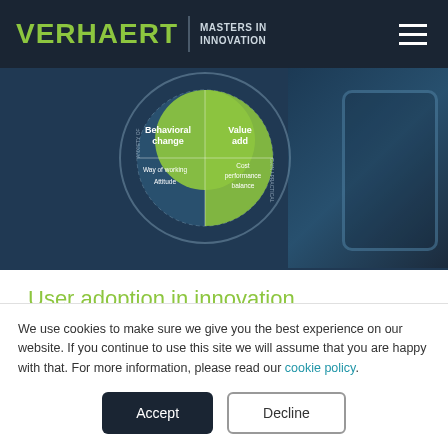VERHAERT | MASTERS IN INNOVATION
[Figure (infographic): Hero image with a circular diagram showing REJECTION vs ADOPTION framework. The circle has a green upper half labeled 'Behavioral change' and 'Value add', with sub-labels 'Way of working', 'Attitude', 'Cost performance balance'. Background shows a person with a large smartphone in a dark blue tinted scene.]
User adoption in innovation
We use cookies to make sure we give you the best experience on our website. If you continue to use this site we will assume that you are happy with that. For more information, please read our cookie policy.
Accept | Decline